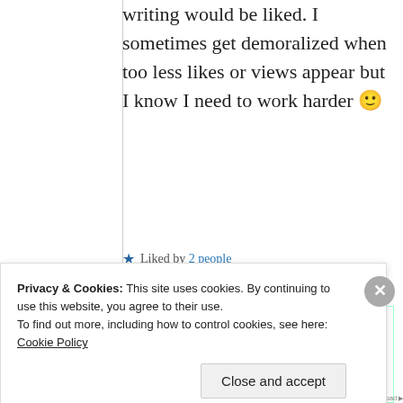writing would be liked. I sometimes get demoralized when too less likes or views appear but I know I need to work harder 🙂
★ Liked by 2 people
Suma Reddy
Privacy & Cookies: This site uses cookies. By continuing to use this website, you agree to their use. To find out more, including how to control cookies, see here: Cookie Policy
Close and accept